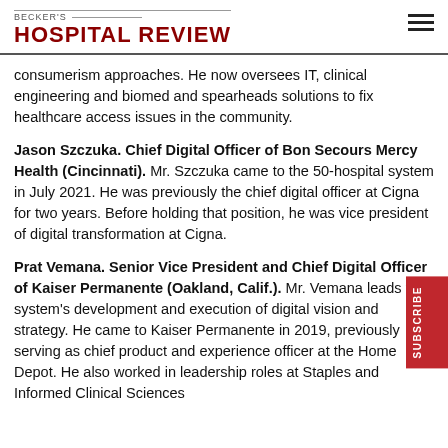BECKER'S HOSPITAL REVIEW
consumerism approaches. He now oversees IT, clinical engineering and biomed and spearheads solutions to fix healthcare access issues in the community.
Jason Szczuka. Chief Digital Officer of Bon Secours Mercy Health (Cincinnati). Mr. Szczuka came to the 50-hospital system in July 2021. He was previously the chief digital officer at Cigna for two years. Before holding that position, he was vice president of digital transformation at Cigna.
Prat Vemana. Senior Vice President and Chief Digital Officer of Kaiser Permanente (Oakland, Calif.). Mr. Vemana leads the system's development and execution of digital vision and strategy. He came to Kaiser Permanente in 2019, previously serving as chief product and experience officer at the Home Depot. He also worked in leadership roles at Staples and Informed Clinical Sciences